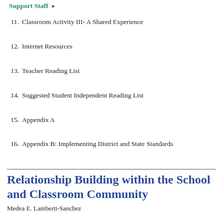Support Staff ▶
11. Classroom Activity III- A Shared Experience
12. Internet Resources
13. Teacher Reading List
14. Suggested Student Independent Reading List
15. Appendix A
16. Appendix B: Implementing District and State Standards
Relationship Building within the School and Classroom Community
Medea E. Lamberti-Sanchez